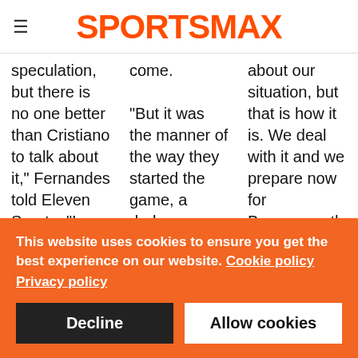SPORTSMAX
speculation, but there is no one better than Cristiano to talk about it," Fernandes told Eleven Sports. "I may know a thing or two, but I won't
come. "But it was the manner of the way they started the game, a derby game. Manchester United, it was obvious how they
about our situation, but that is how it is. We deal with it and we prepare now for Bournemouth, then Newcastle, then Everton," he told Sky Sports.
This website uses cookies to ensure you get the best experience on our website. Cookie policy Privacy policy
Decline
Allow cookies